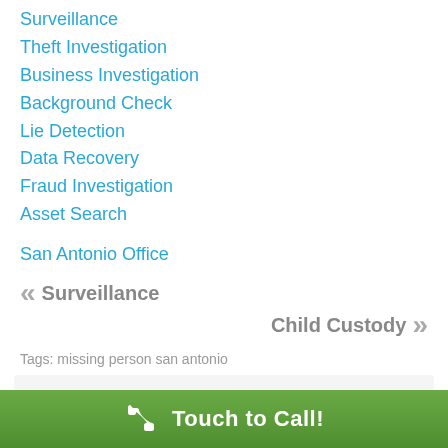Surveillance
Theft Investigation
Business Investigation
Background Check
Lie Detection
Data Recovery
Fraud Investigation
Asset Search
San Antonio Office
« Surveillance
Child Custody »
Tags: missing person san antonio
Complete this form and we will get back to you
Touch to Call!